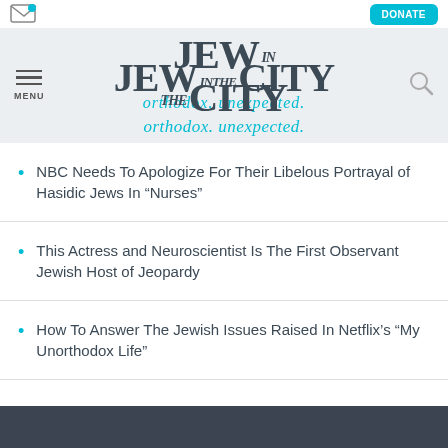Jew in the City — orthodox. unexpected.
NBC Needs To Apologize For Their Libelous Portrayal of Hasidic Jews In “Nurses”
This Actress and Neuroscientist Is The First Observant Jewish Host of Jeopardy
How To Answer The Jewish Issues Raised In Netflix’s “My Unorthodox Life”